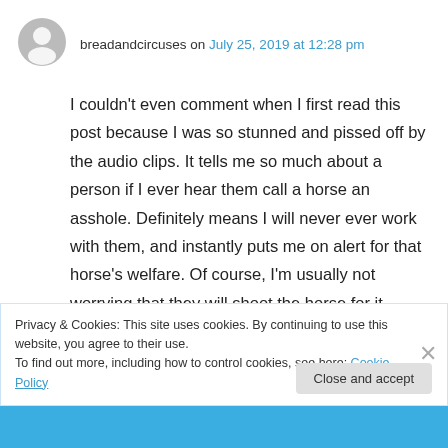[Figure (illustration): Gray circular avatar icon of a person silhouette]
breadandcircuses on July 25, 2019 at 12:28 pm
I couldn't even comment when I first read this post because I was so stunned and pissed off by the audio clips. It tells me so much about a person if I ever hear them call a horse an asshole. Definitely means I will never ever work with them, and instantly puts me on alert for that horse's welfare. Of course, I'm usually not worrying that they will shoot the horse for it.
Privacy & Cookies: This site uses cookies. By continuing to use this website, you agree to their use.
To find out more, including how to control cookies, see here: Cookie Policy
Close and accept